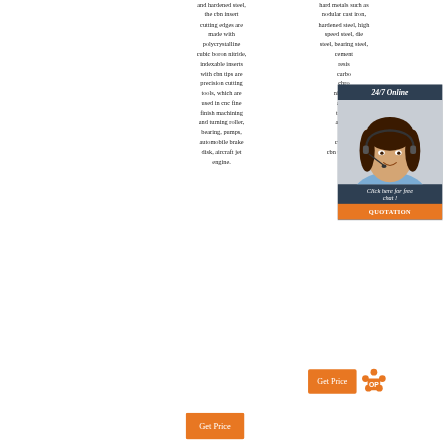and hardened steel, the cbn insert cutting edges are made with polycrystalline cubic boron nitride, indexable inserts with cbn tips are precision cutting tools, which are used in cnc fine finish machining and turning roller, bearing, pumps, automobile brake disk, aircraft jet engine.
hard metals such as nodular cast iron, hardened steel, high speed steel, die steel, bearing steel, cemented ... resisting ... carbon ... chromium ... nickel base ... alloy. The ... tips of ... are made with ... polycrystalline ... cubic boron ... cbn tipped ...
[Figure (photo): Customer service agent photo with 24/7 Online chat overlay panel, including 'Click here for free chat!' text and QUOTATION button in orange]
[Figure (other): Get Price orange button with OP logo icon on right side]
[Figure (other): Get Price orange button (left column)]